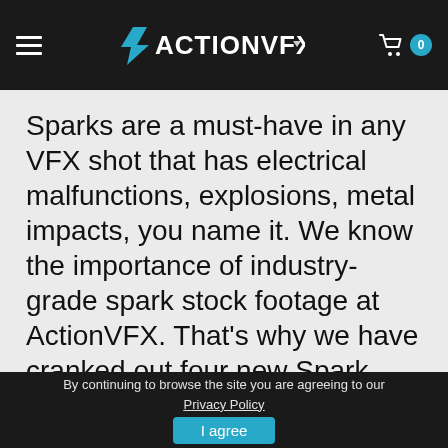ActionVFX navigation header with hamburger menu, logo, and cart (0 items)
Sparks are a must-have in any VFX shot that has electrical malfunctions, explosions, metal impacts, you name it. We know the importance of industry-grade spark stock footage at ActionVFX. That's why we have cranked out four new Spark Element Collections in the past few weeks!
By continuing to browse the site you are agreeing to our Privacy Policy  I agree